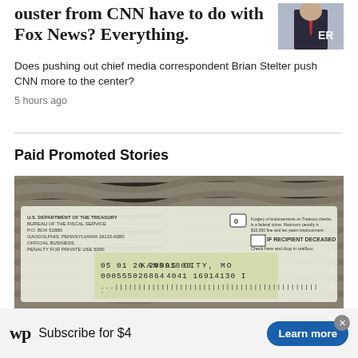ouster from CNN have to do with Fox News? Everything.
Does pushing out chief media correspondent Brian Stelter push CNN more to the center?
5 hours ago
[Figure (photo): Thumbnail photo of a person in a suit with a red tie, partially visible, with text 'ER' visible]
Paid Promoted Stories
[Figure (photo): Photo of a US Treasury check showing: US DEPARTMENT OF THE TREASURY, BUREAU OF THE FISCAL SERVICE, to a recipient, dated 05 01 20 20091800, account 000555026864, KANSAS CITY, MO, 4041 16914130 I, with text 'IF RECIPIENT DECEASED Check here and drop in mailbox', and warning 'Forgery of endorsements on Treasury checks is a federal crime. Maximum penalty is $10,000 fine and ten years imprisonment.']
Subscribe for $4